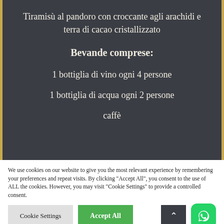Tiramisù al pandoro con croccante agli arachidi e terra di cacao cristallizzato
Bevande comprese:
1 bottiglia di vino ogni 4 persone
1 bottiglia di acqua ogni 2 persone
caffè
We use cookies on our website to give you the most relevant experience by remembering your preferences and repeat visits. By clicking "Accept All", you consent to the use of ALL the cookies. However, you may visit "Cookie Settings" to provide a controlled consent.